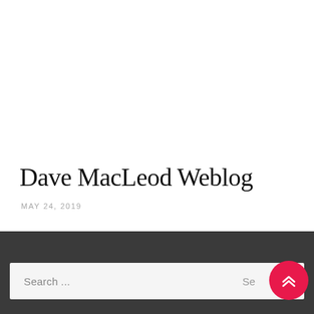Dave MacLeod Weblog
MAY 24, 2019
Search ... Se